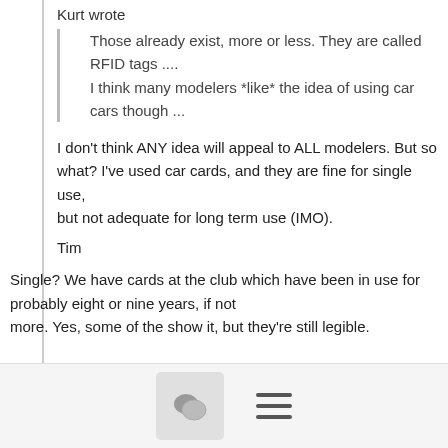Kurt wrote
Those already exist, more or less. They are called RFID tags ....
I think many modelers *like* the idea of using car cars though ...
I don't think ANY idea will appeal to ALL modelers. But so what? I've used car cards, and they are fine for single use, but not adequate for long term use (IMO).
Tim
Single?  We have cards at the club which have been in use for probably eight or nine years, if not more.  Yes, some of the show it, but they're still legible.